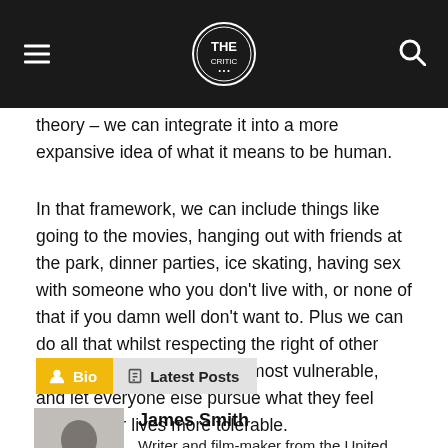[Navigation bar with hamburger menu, site logo, and search icon]
theory – we can integrate it into a more expansive idea of what it means to be human.
In that framework, we can include things like going to the movies, hanging out with friends at the park, dinner parties, ice skating, having sex with someone who you don't live with, or none of that if you damn well don't want to. Plus we can do all that whilst respecting the right of other people's safety. Protect the most vulnerable, and let everyone else pursue what they feel makes their lives more tolerable.
Bio | Latest Posts
James Smith
Writer and film-maker from the United Kingdom. Digital nomad. Author of 'The